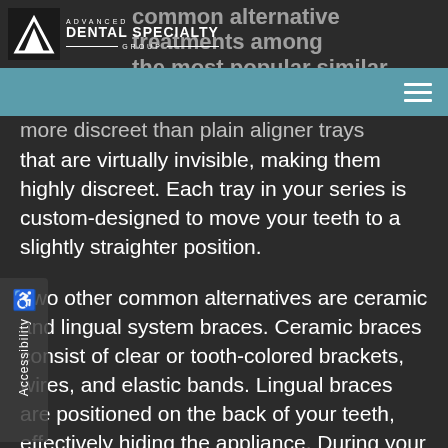Advanced Dental Specialty Group
common alternatives among... popular similar treatments among
that are virtually invisible, making them highly discreet. Each tray in your series is custom-designed to move your teeth to a slightly straighter position.
Two other common alternatives are ceramic and lingual system braces. Ceramic braces consist of clear or tooth-colored brackets, wires, and elastic bands. Lingual braces are positioned on the back of your teeth, effectively hiding the appliance. During your consultation, Dr. Scott Ferguson, DDS will be able to determine which alternative is right for you.